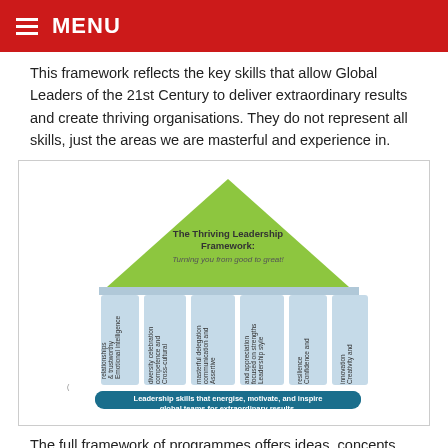MENU
This framework reflects the key skills that allow Global Leaders of the 21st Century to deliver extraordinary results and create thriving organisations. They do not represent all skills, just the areas we are masterful and experience in.
[Figure (infographic): The Thriving Leadership Framework infographic shaped like a house. A green triangle roof sits above six light-blue vertical pillars labelled (left to right): Emotional intelligence & trustworthy relationships; Cross-cultural competence and diversity celebration; Assertive communication and masterful delegation; Leadership style focused on strengths and appreciation; Confidence and resilience; Creativity and innovation. Below the pillars is a dark teal banner reading: Leadership skills that energise, motivate, and inspire global teams for extraordinary results.]
The full framework of programmes offers ideas, concepts, and activities that equip participants with tools so they become unstoppable influencers, believe in themselves, and live a